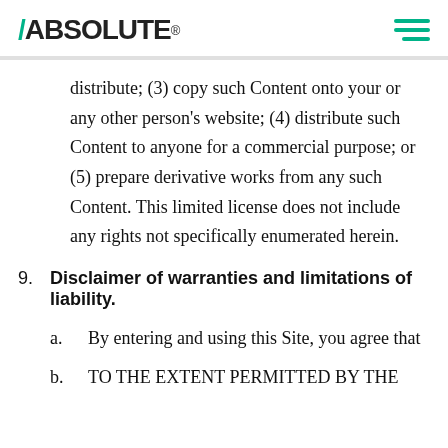/ABSOLUTE®
distribute; (3) copy such Content onto your or any other person's website; (4) distribute such Content to anyone for a commercial purpose; or (5) prepare derivative works from any such Content. This limited license does not include any rights not specifically enumerated herein.
9. Disclaimer of warranties and limitations of liability.
a. By entering and using this Site, you agree that
b. TO THE EXTENT PERMITTED BY THE